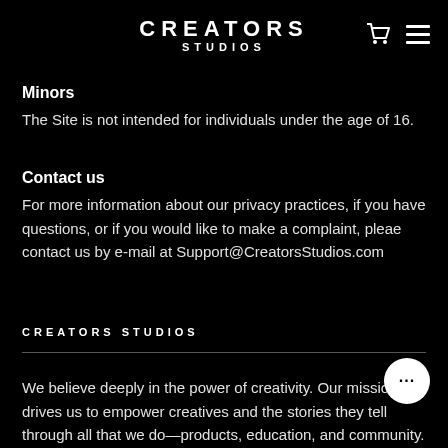CREATORS STUDIOS
Minors
The Site is not intended for individuals under the age of 16.
Contact us
For more information about our privacy practices, if you have questions, or if you would like to make a complaint, pleae contact us by e-mail at Support@CreatorsStudios.com
CREATORS STUDIOS
We believe deeply in the power of creativity. Our missio what drives us to empower creatives and the stories they tell through all that we do—products, education, and community.